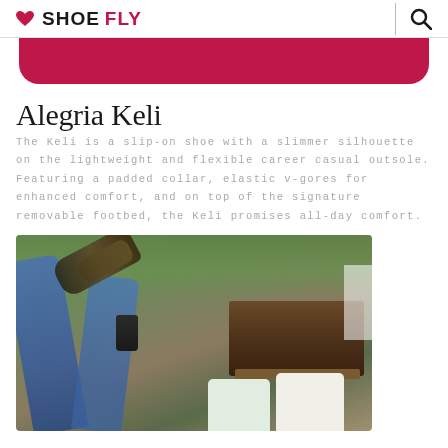SHOE FLY
[Figure (other): Crimson/dark pink banner strip with rounded bottom corners]
Alegria Keli
The Keli is a slip-on shoe with a slimmer silhouette on the lightweight and flexible career casual outsole. Featuring a padded collar, elastic v-gores for enhanced comfort, and on top of the signature removable footbed, the Keli promises all-day comfort.
[Figure (photo): Person wearing Alegria Keli slip-on shoes, legs raised, sitting on outdoor furniture with trees and white fence in background]